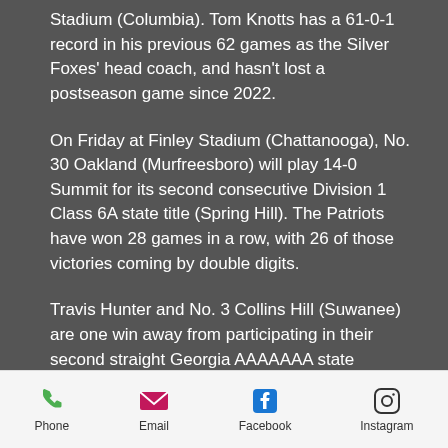Stadium (Columbia). Tom Knotts has a 61-0-1 record in his previous 62 games as the Silver Foxes' head coach, and hasn't lost a postseason game since 2022.

On Friday at Finley Stadium (Chattanooga), No. 30 Oakland (Murfreesboro) will play 14-0 Summit for its second consecutive Division 1 Class 6A state title (Spring Hill). The Patriots have won 28 games in a row, with 26 of those victories coming by double digits.

Travis Hunter and No. 3 Collins Hill (Suwanee) are one win away from participating in their second straight Georgia AAAAAAA state premiership game, but they must first beat reigning champion Grayson (Loganville). Last year's state premiership
Phone  Email  Facebook  Instagram